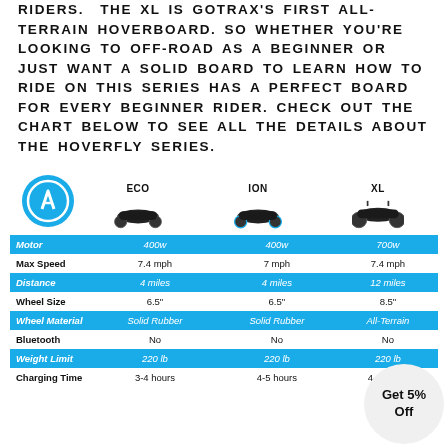RIDERS. THE XL IS GOTRAX'S FIRST ALL-TERRAIN HOVERBOARD. SO WHETHER YOU'RE LOOKING TO OFF-ROAD AS A BEGINNER OR JUST WANT A SOLID BOARD TO LEARN HOW TO RIDE ON THIS SERIES HAS A PERFECT BOARD FOR EVERY BEGINNER RIDER. CHECK OUT THE CHART BELOW TO SEE ALL THE DETAILS ABOUT THE HOVERFLY SERIES.
|  | ECO | ION | XL |
| --- | --- | --- | --- |
| Motor | 400w | 400w | 700w |
| Max Speed | 7.4 mph | 7 mph | 7.4 mph |
| Distance | 4 miles | 4 miles | 12 miles |
| Wheel Size | 6.5" | 6.5" | 8.5" |
| Wheel Material | Solid Rubber | Solid Rubber | All-Terrain |
| Bluetooth | No | No | No |
| Weight Limit | 220 lb | 220 lb | 220 lb |
| Charging Time | 3-4 hours | 4-5 hours | 4-5 hours |